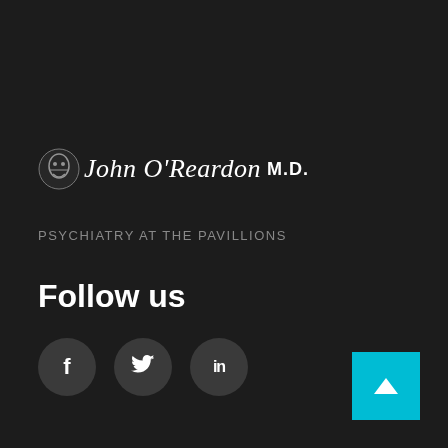John O'Reardon M.D.
PSYCHIATRY AT THE PAVILLIONS
Follow us
[Figure (infographic): Three social media icon circles: Facebook (f), Twitter (bird/t), LinkedIn (in) on dark background]
[Figure (other): Cyan back-to-top button with upward chevron arrow in bottom right corner]